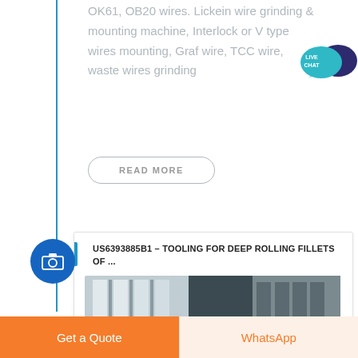OK61, OB20 wires. Lickein wire grinding & mounting machine, Interlock or V type wires mounting, Graf wire, TCC wire, waste wires grinding
READ MORE
US6393885B1 – TOOLING FOR DEEP ROLLING FILLETS OF ...
[Figure (photo): Partial view of industrial machinery or equipment, showing metal framing and glass panels in a factory or workshop setting.]
Get a Quote
WhatsApp